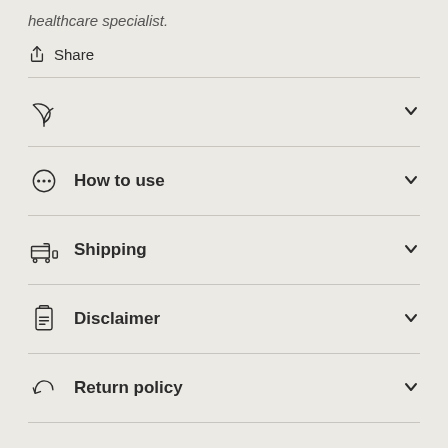healthcare specialist.
Share
How to use
Shipping
Disclaimer
Return policy